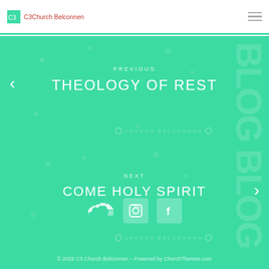C3Church Belconnen
PREVIOUS
THEOLOGY OF REST
NEXT
COME HOLY SPIRIT
[Figure (logo): Social media icons: SoundCloud, Instagram, Facebook]
© 2022 C3 Church Belconnen – Powered by ChurchThemes.com